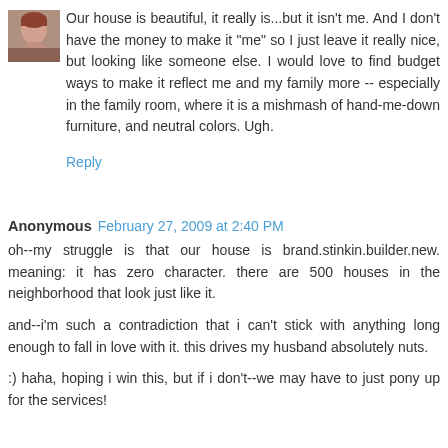[Figure (photo): Small avatar photo of a person in the top-left corner of the first comment]
Our house is beautiful, it really is...but it isn't me. And I don't have the money to make it "me" so I just leave it really nice, but looking like someone else. I would love to find budget ways to make it reflect me and my family more -- especially in the family room, where it is a mishmash of hand-me-down furniture, and neutral colors. Ugh.
Reply
Anonymous  February 27, 2009 at 2:40 PM
oh--my struggle is that our house is brand.stinkin.builder.new. meaning: it has zero character. there are 500 houses in the neighborhood that look just like it.
and--i'm such a contradiction that i can't stick with anything long enough to fall in love with it. this drives my husband absolutely nuts.
:) haha, hoping i win this, but if i don't--we may have to just pony up for the services!